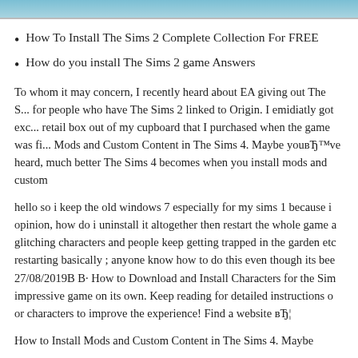[Figure (photo): Top strip showing a partial image, likely a game screenshot with blue/teal tones]
How To Install The Sims 2 Complete Collection For FREE
How do you install The Sims 2 game Answers
To whom it may concern, I recently heard about EA giving out The S... for people who have The Sims 2 linked to Origin. I emidiatly got exc... retail box out of my cupboard that I purchased when the game was fi... Mods and Custom Content in The Sims 4. Maybe youвЂ™ve heard, much better The Sims 4 becomes when you install mods and custom
hello so i keep the old windows 7 especially for my sims 1 because i opinion, how do i uninstall it altogether then restart the whole game a glitching characters and people keep getting trapped in the garden etc restarting basically ; anyone know how to do this even though its bee 27/08/2019В В· How to Download and Install Characters for the Sim impressive game on its own. Keep reading for detailed instructions o or characters to improve the experience! Find a website вЂ¦
How to Install Mods and Custom Content in The Sims 4. Maybe